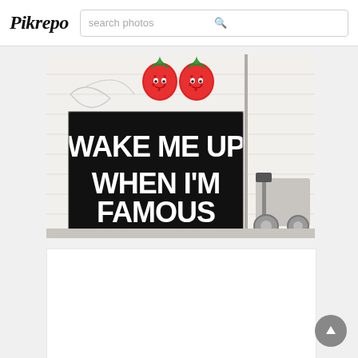Pikrepo — search photos
[Figure (photo): Street art photo on a white brick wall. A black sign reads 'WAKE ME UP WHEN I'M FAMOUS' in large white bold letters. Above the sign on the wall are two cartoon strawberry illustrations. A scooter/moped is partially visible to the right.]
[Figure (photo): Second photo card, appears blank/loading, white rectangle.]